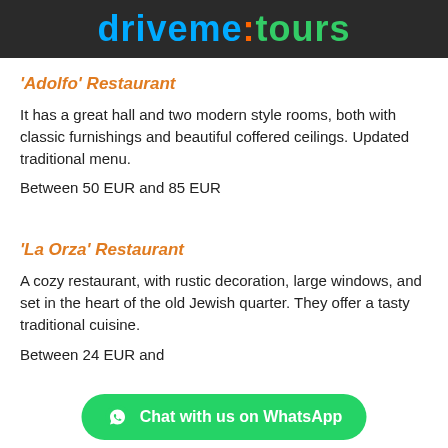driveme:tours
'Adolfo' Restaurant
It has a great hall and two modern style rooms, both with classic furnishings and beautiful coffered ceilings. Updated traditional menu.
Between 50 EUR and 85 EUR
'La Orza' Restaurant
A cozy restaurant, with rustic decoration, large windows, and set in the heart of the old Jewish quarter. They offer a tasty traditional cuisine.
Between 24 EUR and 45 EUR
[Figure (other): Green WhatsApp chat button overlay at the bottom of the screen reading 'Chat with us on WhatsApp']